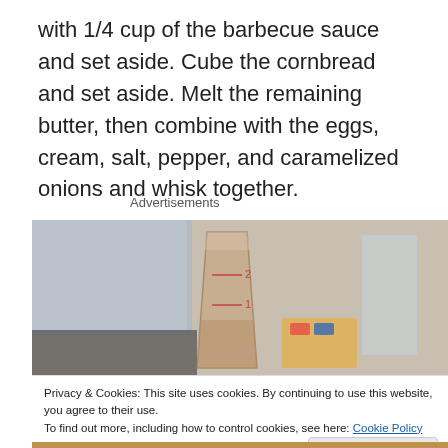with 1/4 cup of the barbecue sauce and set aside. Cube the cornbread and set aside. Melt the remaining butter, then combine with the eggs, cream, salt, pepper, and caramelized onions and whisk together.
Advertisements
[Figure (photo): Kitchen counter photo showing a glass measuring cup with liquid and other kitchen items including a jar and a bag, with a window visible in the background]
Privacy & Cookies: This site uses cookies. By continuing to use this website, you agree to their use.
To find out more, including how to control cookies, see here: Cookie Policy
[Figure (photo): Partial view of food dish at bottom of page]